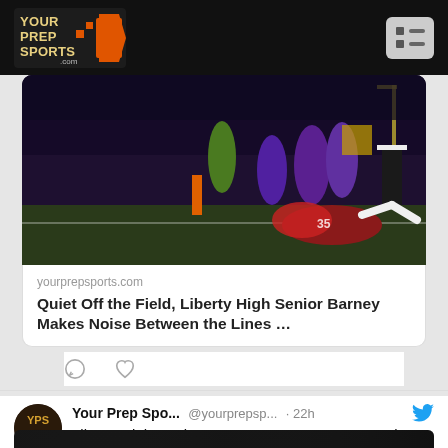Your Prep Sports .com — navigation header with logo and hamburger menu
[Figure (photo): Football game photo showing a player in maroon/white uniform diving near the end zone, with players in purple uniforms and officials in background, night game under lights]
yourprepsports.com
Quiet Off the Field, Liberty High Senior Barney Makes Noise Between the Lines …
[Figure (other): Tweet action icons: comment bubble and heart icons]
Your Prep Spo... @yourprepsp... · 22h
Liberty High Hoping to Learn From Last Year's Close Losses in Bounce Back Season
yourprepsports.com/2022/08/19/lib…
[Figure (photo): Bottom portion of a second tweet image — dark/black background, partial view of football player]